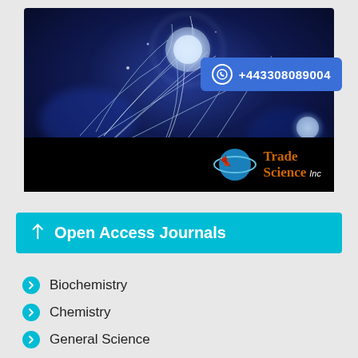[Figure (illustration): Dark blue science/space themed banner image with glowing orbs and neural network-like tendrils. Contains a phone number badge (+443308089004) and Trade Science Inc logo with planet icon.]
Open Access Journals
Biochemistry
Chemistry
General Science
Immunology & Microbiology